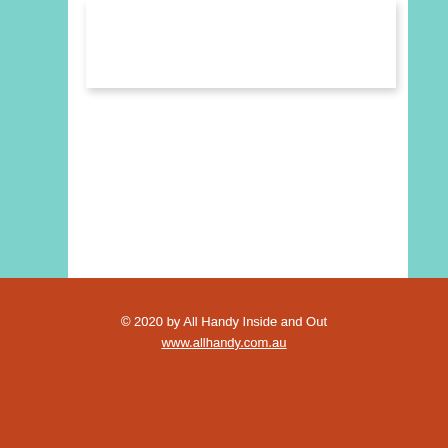[Figure (other): White card/paper element at top of page with drop shadow, set within teal border stripes on left and right]
CONTACT
© 2020 by All Handy Inside and Out
www.allhandy.com.au